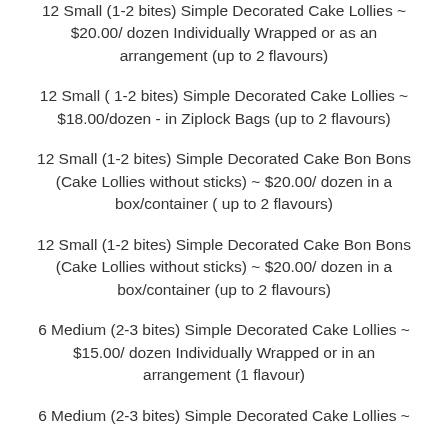12 Small (1-2 bites) Simple Decorated Cake Lollies ~ $20.00/ dozen Individually Wrapped or as an arrangement (up to 2 flavours)
12 Small ( 1-2 bites) Simple Decorated Cake Lollies ~ $18.00/dozen - in Ziplock Bags (up to 2 flavours)
12 Small (1-2 bites) Simple Decorated Cake Bon Bons (Cake Lollies without sticks) ~ $20.00/ dozen in a box/container ( up to 2 flavours)
12 Small (1-2 bites) Simple Decorated Cake Bon Bons (Cake Lollies without sticks) ~ $20.00/ dozen in a box/container (up to 2 flavours)
6 Medium (2-3 bites) Simple Decorated Cake Lollies ~ $15.00/ dozen Individually Wrapped or in an arrangement (1 flavour)
6 Medium (2-3 bites) Simple Decorated Cake Lollies ~